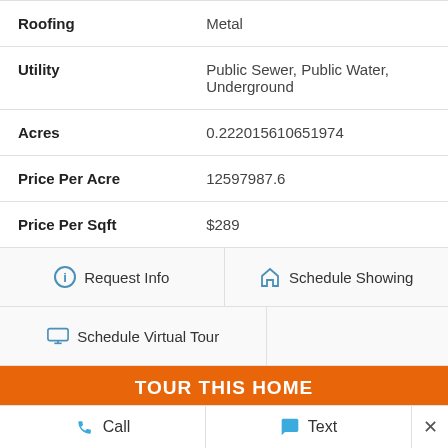| Field | Value |
| --- | --- |
| Roofing | Metal |
| Utility | Public Sewer, Public Water, Underground |
| Acres | 0.222015610651974 |
| Price Per Acre | 12597987.6 |
| Price Per Sqft | $289 |
Request Info
Schedule Showing
Schedule Virtual Tour
TOUR THIS HOME
Call
Text